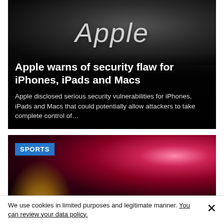[Figure (photo): Dark background with Apple text in italic light gray font, blurred/bokeh effect]
Apple warns of security flaw for iPhones, iPads and Macs
Apple disclosed serious security vulnerabilities for iPhones, iPads and Macs that could potentially allow attackers to take complete control of…
[Figure (photo): Dark night sky with fireworks/bright light flare on the right side, SPORTS badge overlay]
We use cookies in limited purposes and legitimate manner. You can review your data policy.